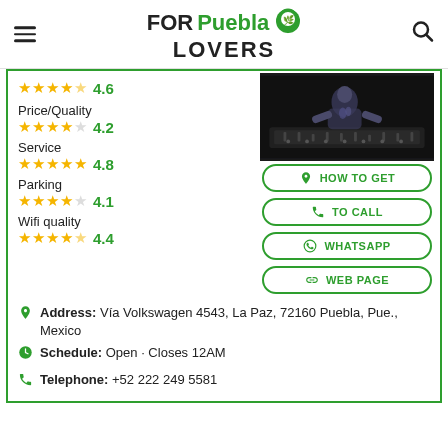FOR Puebla LOVERS
4.6 (partial, top cut off)
Price/Quality
★★★★☆ 4.2
Service
★★★★★ 4.8
Parking
★★★★☆ 4.1
Wifi quality
★★★★☆ 4.4
[Figure (photo): DJ performing at a mixer/turntable, dark background]
HOW TO GET
TO CALL
WHATSAPP
WEB PAGE
Address: Vía Volkswagen 4543, La Paz, 72160 Puebla, Pue., Mexico
Schedule: Open · Closes 12AM
Telephone: +52 222 249 5581